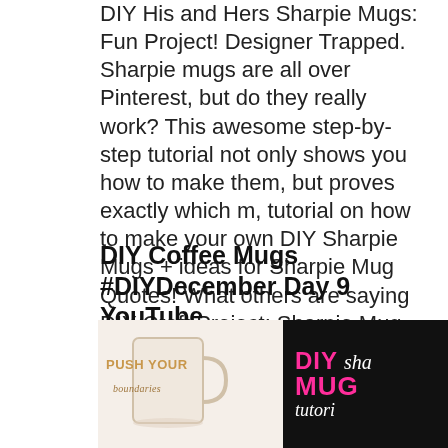DIY His and Hers Sharpie Mugs: Fun Project! Designer Trapped. Sharpie mugs are all over Pinterest, but do they really work? This awesome step-by-step tutorial not only shows you how to make them, but proves exactly which m, tutorial on how to make your own DIY Sharpie Mugs + ideas for Sharpie Mug Quotes! What others are saying DIY Craft Project: Sharpie Mug Tutorial.
DIY Coffee Mugs #DIYDecember Day 9 YouTube
[Figure (photo): Photo collage: left side shows a white ceramic mug with 'PUSH YOUR boundaries' text in gold/orange; right side shows a black background with pink and white text reading 'DIY sha MUG tutorial' — a DIY Sharpie Mug tutorial thumbnail.]